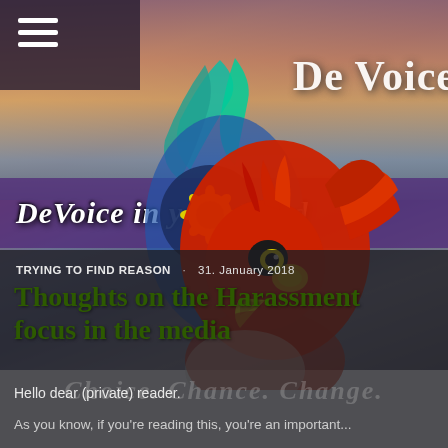[Figure (illustration): DeVoice blog header with a colorful bird/phoenix logo (red, green, blue, yellow) on a sunset sky background. The purple band reads 'DeVoice in your Mind'. Top right shows 'De Voice' in white text.]
De Voice
DeVoice in your Mind
TRYING TO FIND REASON · 31. January 2018
Thoughts on the Harassment focus in the media
Hello dear (private) reader.
Choice. Chance. Change.
As you know, if you're reading this, you're an important...